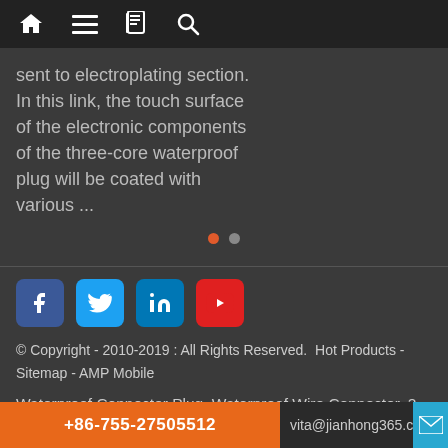Navigation bar with home, menu, book, and search icons
sent to electroplating section. In this link, the touch surface of the electronic components of the three-core waterproof plug will be coated with various ...
[Figure (other): Pagination dots: one red active dot and one grey inactive dot]
[Figure (other): Social media icons: Facebook (blue), Twitter (light blue), LinkedIn (blue), YouTube (red)]
© Copyright - 2010-2019 : All Rights Reserved.  Hot Products - Sitemap - AMP Mobile
Waterproof Connector Plug, Waterproof Wire Connector, 2 Pin Waterproof Electrical Wire Connector Plug, Male Female Plug 2 Pin Waterproof Connector Cable,
+86-755-27505512   vita@jianhong365.c[o]